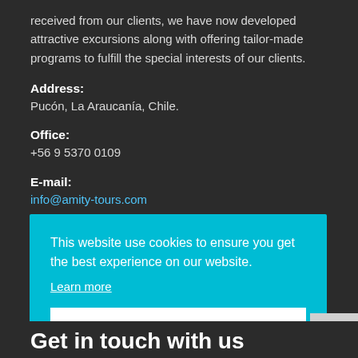received from our clients, we have now developed attractive excursions along with offering tailor-made programs to fulfill the special interests of our clients.
Address:
Pucón, La Araucanía, Chile.
Office:
+56 9 5370 0109
E-mail:
info@amity-tours.com
This website use cookies to ensure you get the best experience on our website.
Learn more
Got it!
Get in touch with us